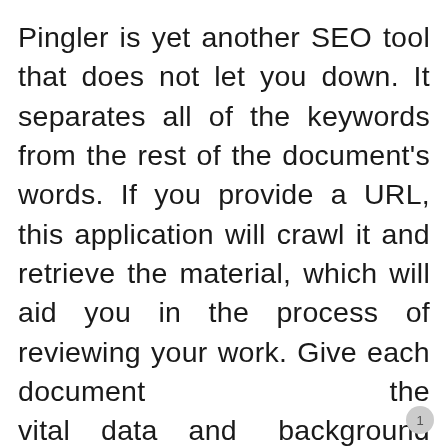Pingler is yet another SEO tool that does not let you down. It separates all of the keywords from the rest of the document's words. If you provide a URL, this application will crawl it and retrieve the material, which will aid you in the process of reviewing your work. Give each document the vital data and background information it needs to succeed. It's quite simple to use and has assisted many people in starting their article writing careers.